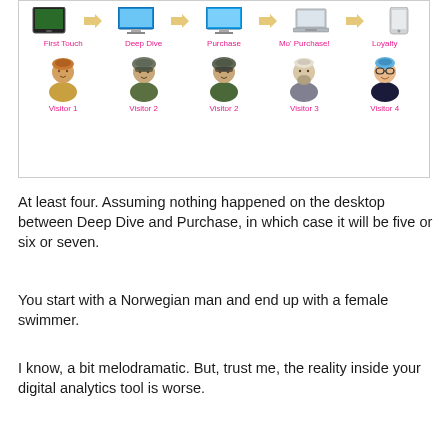[Figure (infographic): A diagram showing a customer journey across 5 stages: First Touch, Deep Dive, Purchase, Mo' Purchase!, Loyalty. Top row shows device icons (tablet, arrow, monitor, arrow, monitor, arrow, laptop, arrow, phone) labeled with stage names in pink. Bottom row shows user persona icons (Visitor 1 through Visitor 4) in pink labels.]
At least four. Assuming nothing happened on the desktop between Deep Dive and Purchase, in which case it will be five or six or seven.
You start with a Norwegian man and end up with a female swimmer.
I know, a bit melodramatic. But, trust me, the reality inside your digital analytics tool is worse.